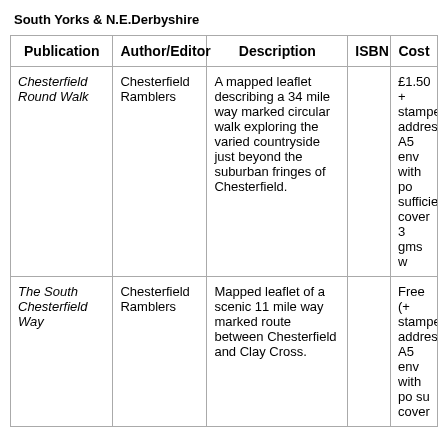South Yorks & N.E.Derbyshire
| Publication | Author/Editor | Description | ISBN | Cost |
| --- | --- | --- | --- | --- |
| Chesterfield Round Walk | Chesterfield Ramblers | A mapped leaflet describing a 34 mile way marked circular walk exploring the varied countryside just beyond the suburban fringes of Chesterfield. |  | £1.50 + stamped addressed A5 env with postage sufficient to cover 3 gms w... |
| The South Chesterfield Way | Chesterfield Ramblers | Mapped leaflet of a scenic 11 mile way marked route between Chesterfield and Clay Cross. |  | Free (+ stamped addressed A5 env with postage su... cover... |